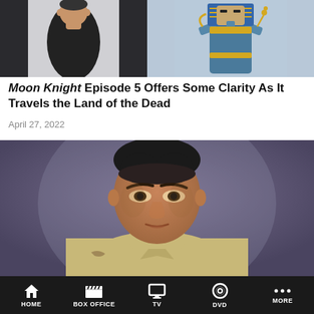[Figure (photo): Two-panel image: left panel shows a man in a black t-shirt against a light background, right panel shows an Egyptian deity statue figure holding a crook and flail]
Moon Knight Episode 5 Offers Some Clarity As It Travels the Land of the Dead
April 27, 2022
[Figure (photo): Close-up photo of a man with dark hair wearing a cream/beige hoodie, looking intensely at the camera against a blurred purple-grey background]
HOME   BOX OFFICE   TV   DVD   MORE